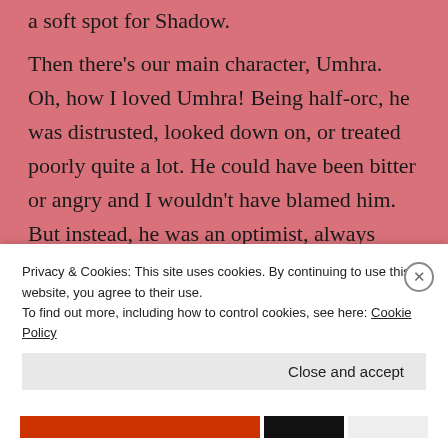a soft spot for Shadow.
Then there's our main character, Umhra. Oh, how I loved Umhra! Being half-orc, he was distrusted, looked down on, or treated poorly quite a lot. He could have been bitter or angry and I wouldn't have blamed him. But instead, he was an optimist, always looking for the best in every situation. He was, at his core, a good, honorable character. He was not your boring "lawful good", however. He was incredibly nuanced and I loved reading about him. I haven't
Privacy & Cookies: This site uses cookies. By continuing to use this website, you agree to their use.
To find out more, including how to control cookies, see here: Cookie Policy
Close and accept